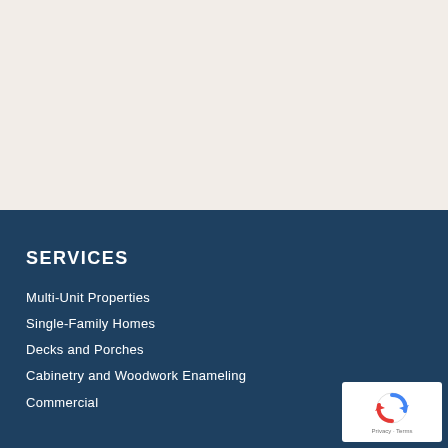[Figure (other): Top cream/off-white background section]
SERVICES
Multi-Unit Properties
Single-Family Homes
Decks and Porches
Cabinetry and Woodwork Enameling
Commercial
[Figure (other): reCAPTCHA badge with Privacy and Terms links]